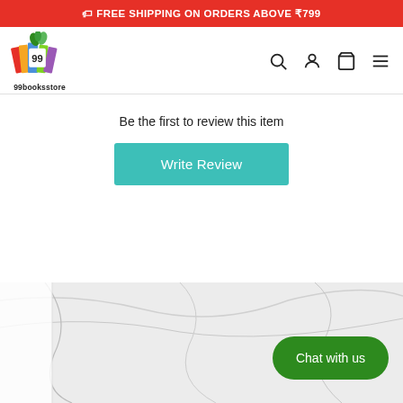🏷 FREE SHIPPING ON ORDERS ABOVE ₹799
[Figure (logo): 99booksstore logo with colorful book pages and green leaves, text '99booksstore' below]
Be the first to review this item
Write Review
[Figure (photo): White marble background texture with left white panel]
Chat with us